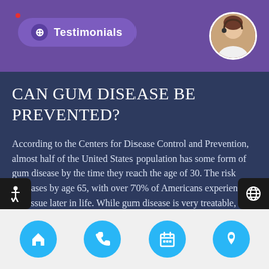Testimonials
Can Gum Disease be Prevented?
According to the Centers for Disease Control and Prevention, almost half of the United States population has some form of gum disease by the time they reach the age of 30. The risk increases by age 65, with over 70% of Americans experiencing this issue later in life. While gum disease is very treatable, it…
[Figure (photo): A male dentist in a white coat and a female patient looking at something together in a dental office setting.]